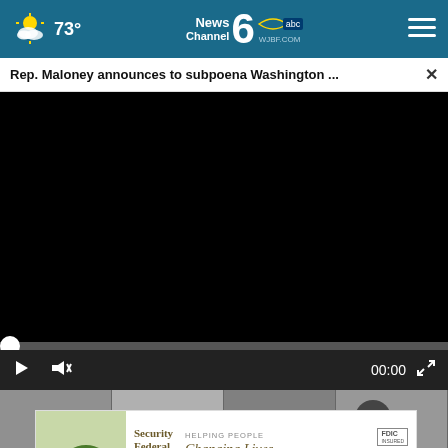73° News Channel 6 abc WJBF.COM
Rep. Maloney announces to subpoena Washington ...
[Figure (screenshot): Black video player area with progress bar, play button, mute button, timestamp 00:00 and fullscreen icon on dark controls bar]
[Figure (photo): Grayscale thumbnail strip showing people in suits/ties]
[Figure (other): Security Federal Bank advertisement banner: Helping People Changing Lives, with FDIC and Equal Housing Lender logos]